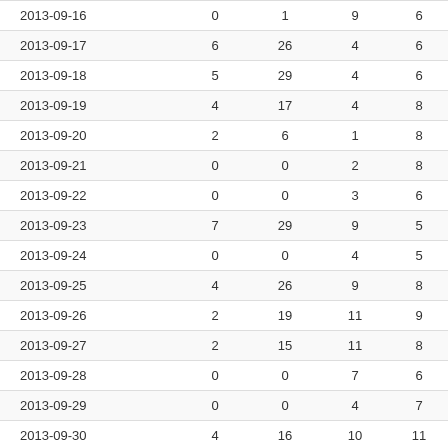| Date | Col1 | Col2 | Col3 | Col4 |
| --- | --- | --- | --- | --- |
| 2013-09-16 | 0 | 1 | 9 | 6 |
| 2013-09-17 | 6 | 26 | 4 | 6 |
| 2013-09-18 | 5 | 29 | 4 | 6 |
| 2013-09-19 | 4 | 17 | 4 | 8 |
| 2013-09-20 | 2 | 6 | 1 | 8 |
| 2013-09-21 | 0 | 0 | 2 | 8 |
| 2013-09-22 | 0 | 0 | 3 | 6 |
| 2013-09-23 | 7 | 29 | 9 | 5 |
| 2013-09-24 | 0 | 0 | 4 | 5 |
| 2013-09-25 | 4 | 26 | 9 | 8 |
| 2013-09-26 | 2 | 19 | 11 | 9 |
| 2013-09-27 | 2 | 15 | 11 | 8 |
| 2013-09-28 | 0 | 0 | 7 | 6 |
| 2013-09-29 | 0 | 0 | 4 | 7 |
| 2013-09-30 | 4 | 16 | 10 | 11 |
| August 2013 | 102 | 574 | 253 | 13 |
| July 2013 | 113 | 712 | 413 | 12 |
| June 2013 | 111 | 813 | 315 | 11 |